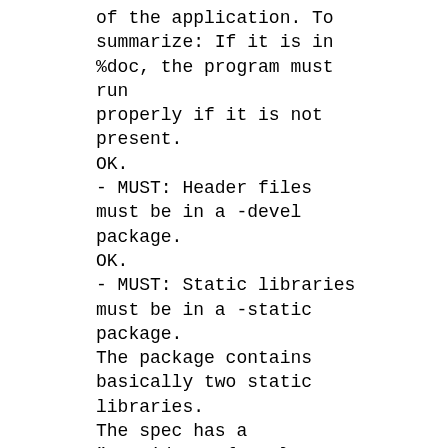of the application. To summarize: If it is in %doc, the program must run properly if it is not present.
OK.
- MUST: Header files must be in a -devel package.
OK.
- MUST: Static libraries must be in a -static package.
The package contains basically two static libraries.
The spec has a "Provides: %{name}-static = %{version}-%{release}" clause.
This is fine for me.
- MUST: Packages containing